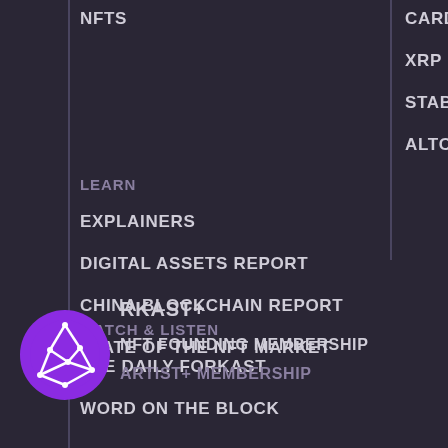NFTS
CARDANO
XRP
STABLECOINS
ALTCOINS
LEARN
EXPLAINERS
DIGITAL ASSETS REPORT
CHINA BLOCKCHAIN REPORT
STATE OF THE NFT MARKET
WATCH & LISTEN
THE DAILY FORKAST
WORD ON THE BLOCK
FORKAST+
NFT FOUNDING MEMBERSHIP
ARTIST+ MEMBERSHIP